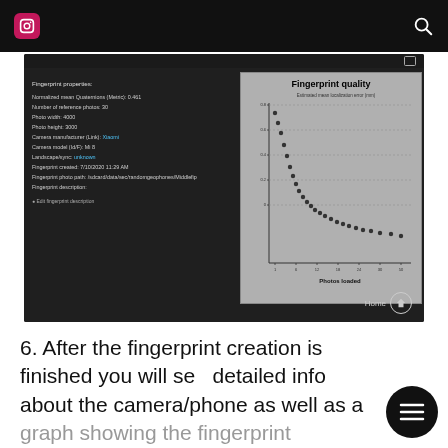[Figure (screenshot): Screenshot of a fingerprint properties panel and fingerprint quality graph on a dark-themed mobile app. Left side shows fingerprint properties including: Normalized mean Quaternions (Metric): 0.461, Number of reference photos: 30, Photo width: 4000, Photo height: 3000, Camera manufacturer (Link): Xiaomi, Camera model (Id/F): Mi 8, Landscape/sync: unknown, Fingerprint created: 7/10/2020 11:29 AM, Fingerprint photo path, Fingerprint description. Right side shows a graph titled 'Fingerprint quality' with y-axis 'Estimated mean localization error (mm)' showing a decreasing curve and x-axis 'Photos loaded' with values 1 to 50.]
6. After the fingerprint creation is finished you will see detailed info about the camera/phone as well as a graph showing the fingerprint accuracy/quality